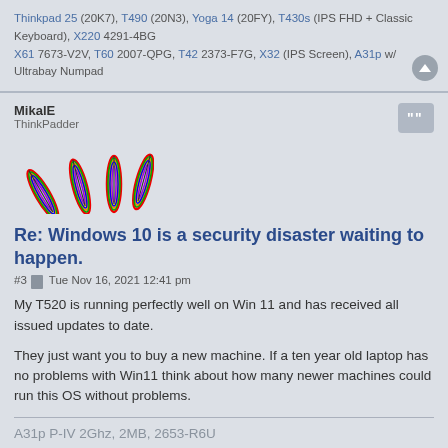Thinkpad 25 (20K7), T490 (20N3), Yoga 14 (20FY), T430s (IPS FHD + Classic Keyboard), X220 4291-4BG
X61 7673-V2V, T60 2007-QPG, T42 2373-F7G, X32 (IPS Screen), A31p w/ Ultrabay Numpad
MikalE
ThinkPadder
[Figure (illustration): Rainbow-colored feather/quill avatar image]
Re: Windows 10 is a security disaster waiting to happen.
#3  Tue Nov 16, 2021 12:41 pm
My T520 is running perfectly well on Win 11 and has received all issued updates to date.

They just want you to buy a new machine. If a ten year old laptop has no problems with Win11 think about how many newer machines could run this OS without problems.
A31p P-IV 2Ghz, 2MB, 2653-R6U
T500 T9600 2055-BE9